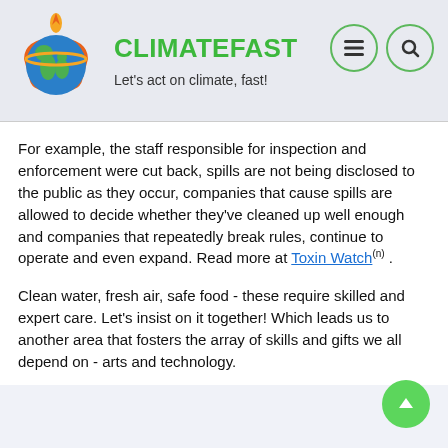CLIMATEFAST — Let's act on climate, fast!
For example, the staff responsible for inspection and enforcement were cut back, spills are not being disclosed to the public as they occur, companies that cause spills are allowed to decide whether they've cleaned up well enough and companies that repeatedly break rules, continue to operate and even expand. Read more at Toxin Watch .
Clean water, fresh air, safe food - these require skilled and expert care. Let's insist on it together! Which leads us to another area that fosters the array of skills and gifts we all depend on - arts and technology.